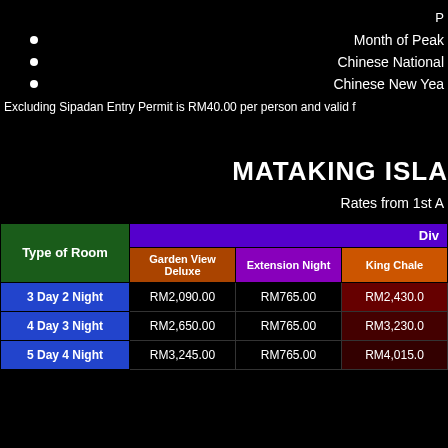P
Month of Peak
Chinese National
Chinese New Year
Excluding Sipadan Entry Permit is RM40.00 per person and valid f
MATAKING ISLA
Rates from 1st A
| Type of Room | Div | Garden View Deluxe | Extension Night | King Chale |
| --- | --- | --- | --- | --- |
| 3 Day 2 Night | RM2,090.00 | RM765.00 | RM2,430.00 |
| 4 Day 3 Night | RM2,650.00 | RM765.00 | RM3,230.00 |
| 5 Day 4 Night | RM3,245.00 | RM765.00 | RM4,015.00 |